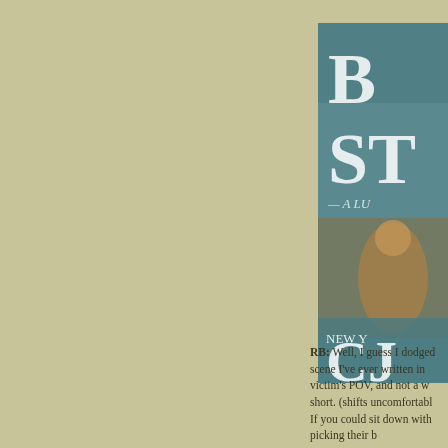[Figure (illustration): Partially visible book cover with teal/blue background showing large letters 'B' and 'ST' at top, subtitle text 'A LU...' below, an illustrated figure in the middle, and at the bottom 'NEW Y...' and large letters 'CJ' — a novel book cover cropped on the right side of the page.]
RB: Well, I guess I dodged... scene I've ever written in... victim's POV, and not a w... short. (shifts uncomfortable... If you could sit down with... picking their b...